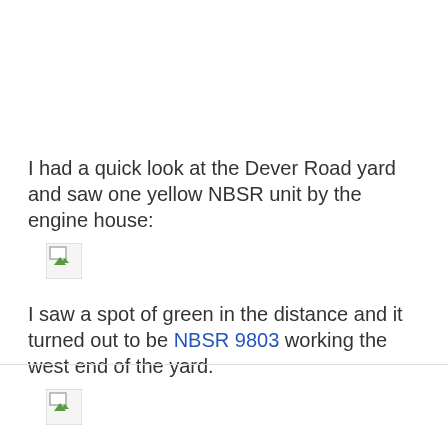I had a quick look at the Dever Road yard and saw one yellow NBSR unit by the engine house:
[Figure (photo): Broken image placeholder (first photo)]
I saw a spot of green in the distance and it turned out to be NBSR 9803 working the west end of the yard.
[Figure (photo): Broken image placeholder (second photo)]
That was it for one day!
Steve Boyko at 5/26/2006 04:44:00 am   No comments:
Share